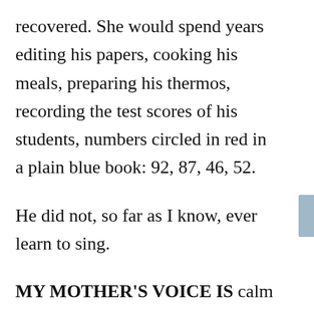recovered. She would spend years editing his papers, cooking his meals, preparing his thermos, recording the test scores of his students, numbers circled in red in a plain blue book: 92, 87, 46, 52.
He did not, so far as I know, ever learn to sing.
MY MOTHER'S VOICE IS calm and clear. Like a lake. “Not too long,” she tells my father. “It’s going to rain.” She kneels to pull the hood of my quilted green jacket up over my head, ties it under